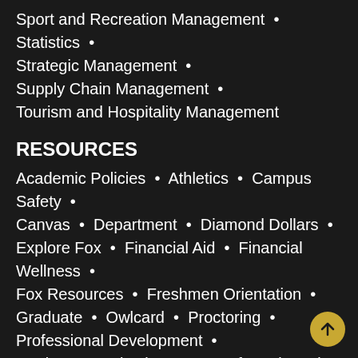Sport and Recreation Management • Statistics •
Strategic Management •
Supply Chain Management •
Tourism and Hospitality Management
RESOURCES
Academic Policies • Athletics • Campus Safety •
Canvas • Department • Diamond Dollars •
Explore Fox • Financial Aid • Financial Wellness •
Fox Resources • Freshmen Orientation •
Graduate • Owlcard • Proctoring •
Professional Development •
Student Organizations • Transfer Orientation •
Undergraduate • Undergraduate Orientation •
University Resources • Zoom